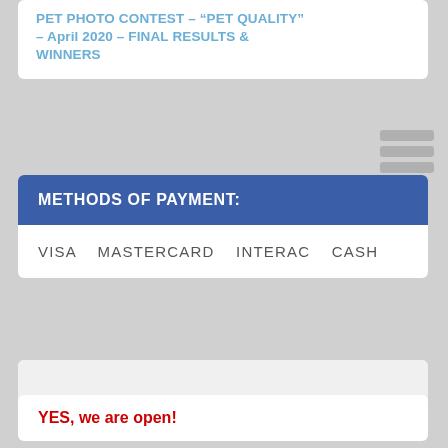PET PHOTO CONTEST – “PET QUALITY” – April 2020 – FINAL RESULTS & WINNERS
[Figure (other): Hamburger menu icon with three horizontal grey bars]
METHODS OF PAYMENT:
VISA   MASTERCARD   INTERAC   CASH
[Figure (other): Grey placeholder advertisement block]
YES, we are open!